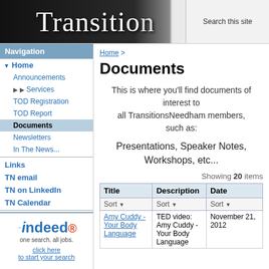Transition
Navigation
▼ Home
Announcements
▶ Services
TOD Registration
TOD Report
Documents (active)
Newsletters
In The News...
Links
TN email
TN on LinkedIn
TN Calendar
[Figure (logo): Indeed logo with tagline 'one search. all jobs.' and link 'click here to start your search']
Home > Documents
Documents
This is where you'll find documents of interest to all TransitionsNeedham members, such as:
Presentations, Speaker Notes, Workshops, etc...
Showing 20 items
| Title | Description | Date |
| --- | --- | --- |
| Sort | Sort | Sort |
| Amy Cuddy - Your Body Language | TED video: Amy Cuddy - Your Body Language | November 21, 2012 |